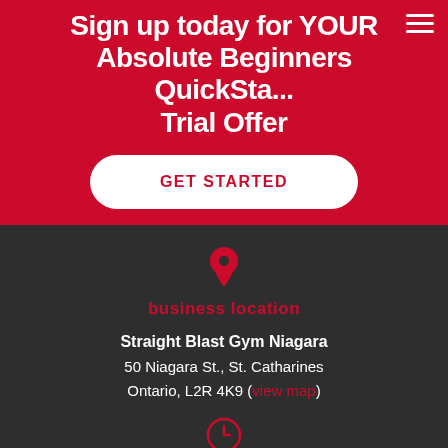Sign up today for YOUR Absolute Beginners QuickStart Trial Offer
GET STARTED
business location
Straight Blast Gym Niagara
50 Niagara St., St. Catharines
Ontario, L2R 4K9 (view map)